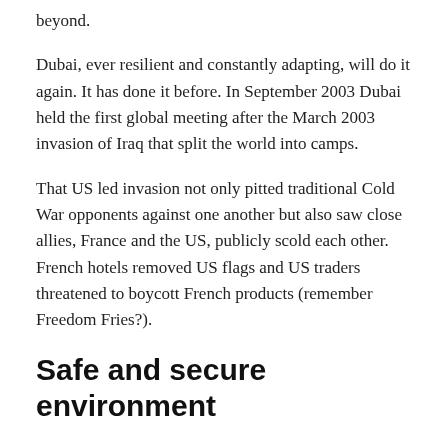beyond.
Dubai, ever resilient and constantly adapting, will do it again. It has done it before. In September 2003 Dubai held the first global meeting after the March 2003 invasion of Iraq that split the world into camps.
That US led invasion not only pitted traditional Cold War opponents against one another but also saw close allies, France and the US, publicly scold each other. French hotels removed US flags and US traders threatened to boycott French products (remember Freedom Fries?).
Safe and secure environment